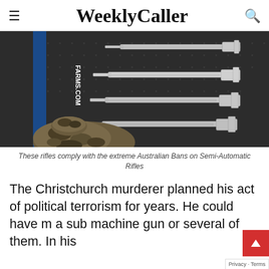WeeklyCaller
[Figure (photo): Rifles mounted on a dark pegboard wall display, with camouflage jacket/clothing visible in the lower left, and a blue banner partially visible on the left side reading FARMS.COM or similar.]
These rifles comply with the extreme Australian Bans on Semi-Automatic Rifles
The Christchurch murderer planned his act of political terrorism for years. He could have made a sub machine gun or several of them. In his